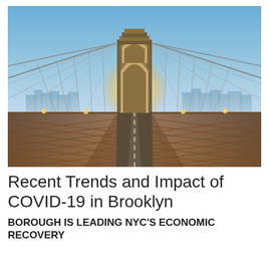[Figure (photo): View from the pedestrian walkway of the Brooklyn Bridge looking toward Manhattan, with the iconic stone tower arches and steel cable lattice in the foreground, a golden sunrise glowing behind the tower, and the Manhattan skyline visible in the background.]
Recent Trends and Impact of COVID-19 in Brooklyn
BOROUGH IS LEADING NYC'S ECONOMIC RECOVERY